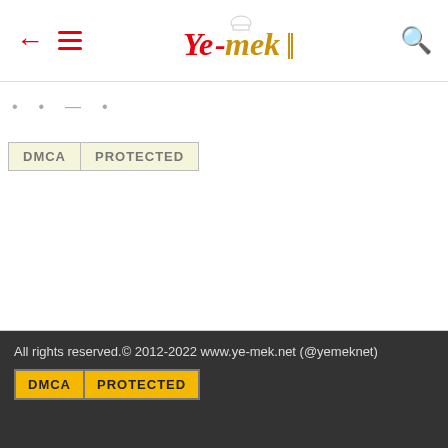Ye-mek (navigation header with back arrow, menu, logo, search)
[Figure (logo): Ye-mek.net logo in cursive style with chef hat]
. . — .
[Figure (other): DMCA PROTECTED badge, light style]
All rights reserved.© 2012-2022 www.ye-mek.net (@yemeknet)
[Figure (other): DMCA PROTECTED badge, dark/yellow style]
TÜRKÇE
Main Page
Dessert Recipes
Cookie Recipes
Cake Recipes
Pie Recipes
Canepe Recipes
Homemade Drinks